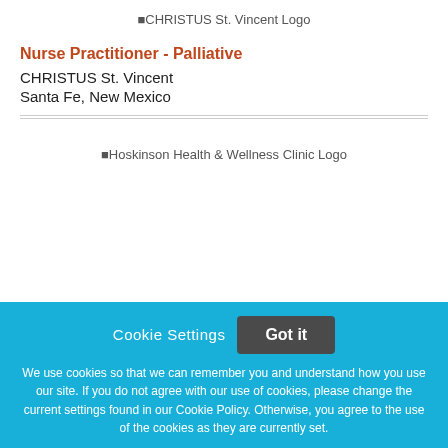[Figure (logo): CHRISTUS St. Vincent Logo placeholder text]
Nurse Practitioner - Palliative
CHRISTUS St. Vincent
Santa Fe, New Mexico
[Figure (logo): Hoskinson Health & Wellness Clinic Logo placeholder text]
Cookie Settings  Got it
We use cookies so that we can remember you and understand how you use our site. If you do not agree with our use of cookies, please change the current settings found in our Cookie Policy. Otherwise, you agree to the use of the cookies as they are currently set.